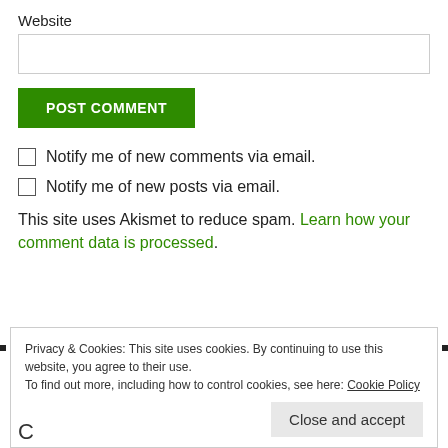Website
[Figure (other): Empty text input field for website URL]
[Figure (other): POST COMMENT green button]
Notify me of new comments via email.
Notify me of new posts via email.
This site uses Akismet to reduce spam. Learn how your comment data is processed.
Privacy & Cookies: This site uses cookies. By continuing to use this website, you agree to their use. To find out more, including how to control cookies, see here: Cookie Policy
Close and accept